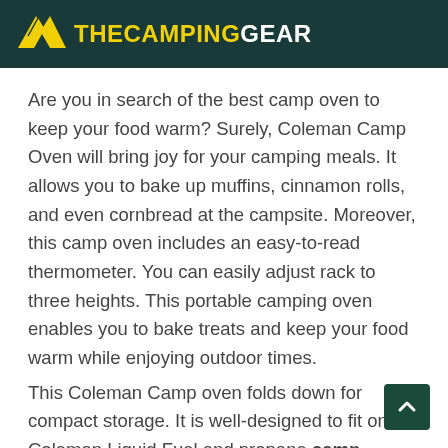THECAMPINGGEAR
Are you in search of the best camp oven to keep your food warm? Surely, Coleman Camp Oven will bring joy for your camping meals. It allows you to bake up muffins, cinnamon rolls, and even cornbread at the campsite. Moreover, this camp oven includes an easy-to-read thermometer. You can easily adjust rack to three heights. This portable camping oven enables you to bake treats and keep your food warm while enjoying outdoor times. This Coleman Camp oven folds down for compact storage. It is well-designed to fit on Coleman Liquid Fuel and propane camp stoves. The presence of smooth aluminized steel resists corrosion, scuffs, and even scratches.